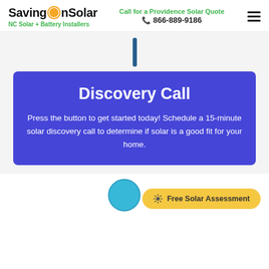SavingOnSolar — NC Solar + Battery Installers — Call for a Providence Solar Quote — 866-889-9186
[Figure (other): Dark blue vertical divider bar centered on light grey background section]
Discovery Call
Press the button to get started today! Schedule a 15-minute solar discovery call to determine if solar is a good fit for your home.
[Figure (other): Yellow 'Free Solar Assessment' button with gear icon, bottom right. Partial teal circle/person icon visible at bottom center.]